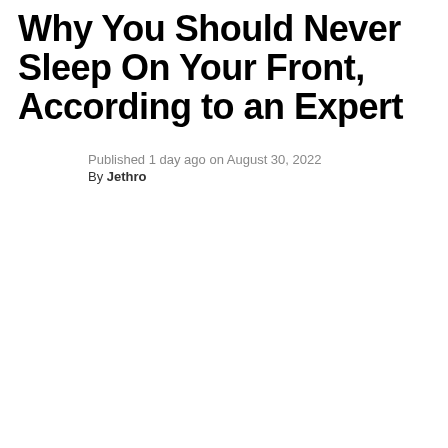Why You Should Never Sleep On Your Front, According to an Expert
Published 1 day ago on August 30, 2022
By Jethro